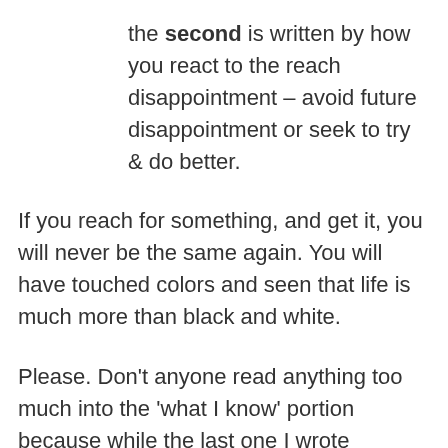the second is written by how you react to the reach disappointment – avoid future disappointment or seek to try & do better.
If you reach for something, and get it, you will never be the same again. You will have touched colors and seen that life is much more than black and white.
Please. Don't anyone read anything too much into the 'what I know' portion because while the last one I wrote